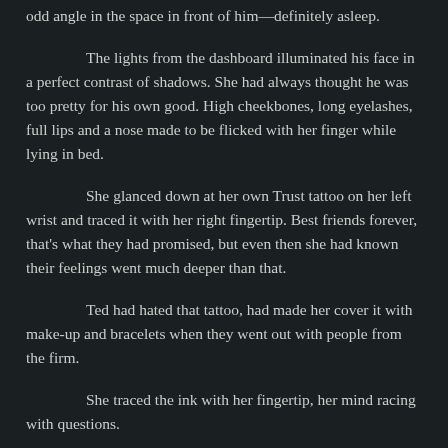odd angle in the space in front of him—definitely asleep.
The lights from the dashboard illuminated his face in a perfect contrast of shadows. She had always thought he was too pretty for his own good. High cheekbones, long eyelashes, full lips and a nose made to be flicked with her finger while lying in bed.
She glanced down at her own Trust tattoo on her left wrist and traced it with her right fingertip. Best friends forever, that's what they had promised, but even then she had known their feelings went much deeper than that.
Ted had hated that tattoo, had made her cover it with make-up and bracelets when they went out with people from the firm.
She traced the ink with her fingertip, her mind racing with questions.
"Are we here?" he slurred his question, his eyes opening as he